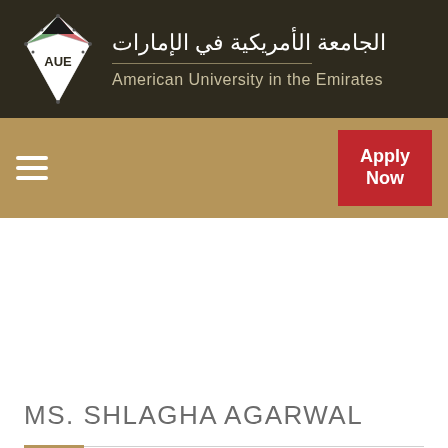[Figure (logo): American University in the Emirates logo with AUE diamond emblem, Arabic text 'الجامعة الأمريكية في الإمارات' and English text 'American University in the Emirates' on dark brown background]
[Figure (infographic): Gold navigation bar with hamburger menu icon on left and red 'Apply Now' button on right]
MS. SHLAGHA AGARWAL